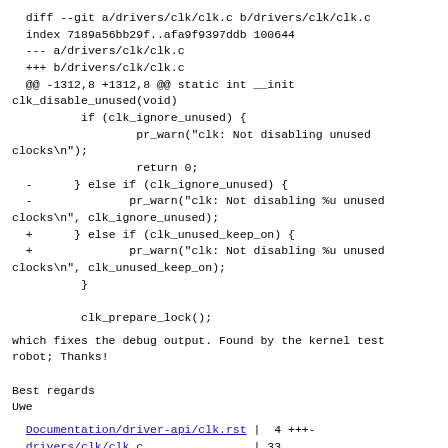diff --git a/drivers/clk/clk.c b/drivers/clk/clk.c
index 7189a56bb29f..afa9f9397ddb 100644
--- a/drivers/clk/clk.c
+++ b/drivers/clk/clk.c
@@ -1312,8 +1312,8 @@ static int __init clk_disable_unused(void)
        if (clk_ignore_unused) {
                pr_warn("clk: Not disabling unused clocks\n");
                return 0;
 -      } else if (clk_ignore_unused) {
 -              pr_warn("clk: Not disabling %u unused clocks\n", clk_ignore_unused);
  +     } else if (clk_unused_keep_on) {
  +             pr_warn("clk: Not disabling %u unused clocks\n", clk_unused_keep_on);
        }

        clk_prepare_lock();
which fixes the debug output. Found by the kernel test robot; Thanks!
Best regards
Uwe
Documentation/driver-api/clk.rst |  4 +++-
drivers/clk/clk.c                | 33
++++++++++++++++++++++---------
 2 files changed, 29 insertions(+), 8 deletions(-)